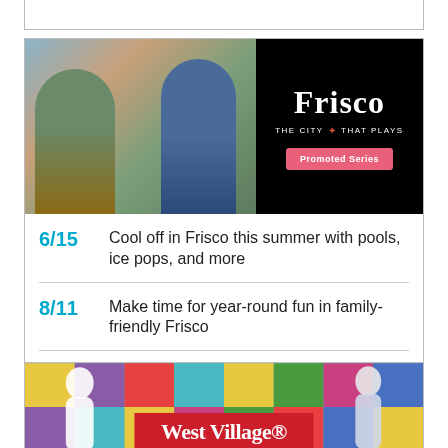[Figure (photo): Top partial box border at page top]
[Figure (photo): Frisco promotional card with banner photo showing two women at a shop counter, Frisco logo with tagline THE CITY THAT PLAYS and Promoted Series button, followed by three list items with dates]
6/15  Cool off in Frisco this summer with pools, ice pops, and more
8/11  Make time for year-round fun in family-friendly Frisco
6/16  Top ways to cool off with a summer vacation in Frisco
[Figure (photo): West Village promotional banner with colorful geometric hexagon background and two figures, red banner with West Village logo text]